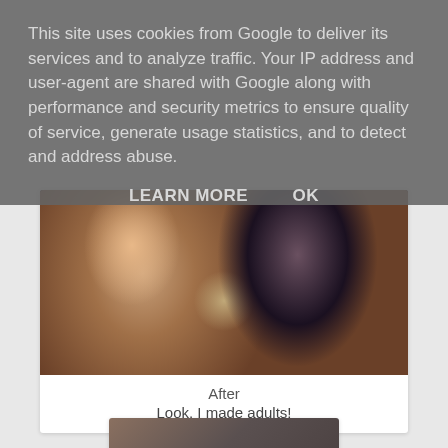This site uses cookies from Google to deliver its services and to analyze traffic. Your IP address and user-agent are shared with Google along with performance and security metrics to ensure quality of service, generate usage statistics, and to detect and address abuse.
LEARN MORE   OK
[Figure (photo): Two young women smiling and holding a decorative key or ornament, photographed in a dark indoor setting. Left woman has long brown hair and wears a denim jacket; right woman has long dark wavy hair.]
After
Look, I made adults!
[Figure (photo): Partially visible image at the bottom of the page, appears to be a framed picture or artwork.]